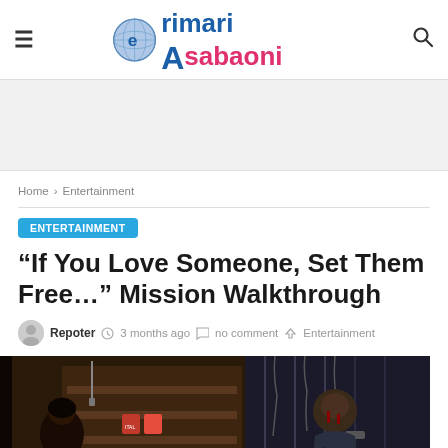erimari Asabaoni — navigation header with hamburger menu, logo, and search icon
[Figure (other): Advertisement banner placeholder, light gray background]
Home > Entertainment
ENTERTAINMENT
“If You Love Someone, Set Them Free…” Mission Walkthrough
Repoter   3 months ago   no comment   Entertainment
[Figure (photo): Two-panel article hero image: left panel shows a dark horror game scene with a character and shelves in a dimly lit room; right panel shows a bloody male character holding something in a dark, chains-covered environment]